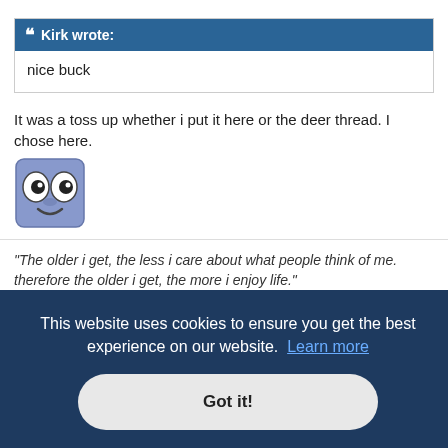Kirk wrote:
nice buck
It was a toss up whether i put it here or the deer thread. I chose here.
[Figure (illustration): A cartoon emoji face with wide eyes and a slight smile, blue/purple tones]
"The older i get, the less i care about what people think of me. therefore the older i get, the more i enjoy life."
"Life is so constructed, that the event does not, cannot, will not, match the expectation."
This website uses cookies to ensure you get the best experience on our website. Learn more
Got it!
ame rate
in a huge NASA vacuum chamber.